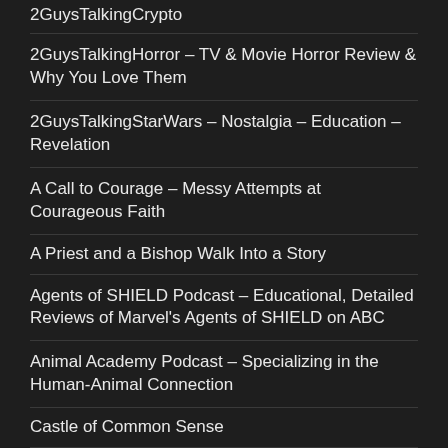2GuysTalkingCrypto
2GuysTalkingHorror – TV & Movie Horror Review & Why You Love Them
2GuysTalkingStarWars – Nostalgia – Education – Revelation
A Call to Courage – Messy Attempts at Courageous Faith
A Priest and a Bishop Walk Into a Story
Agents of SHIELD Podcast – Educational, Detailed Reviews of Marvel's Agents of SHIELD on ABC
Animal Academy Podcast – Specializing in the Human-Animal Connection
Castle of Common Sense
CHARGErForward
Conspiracy Agents